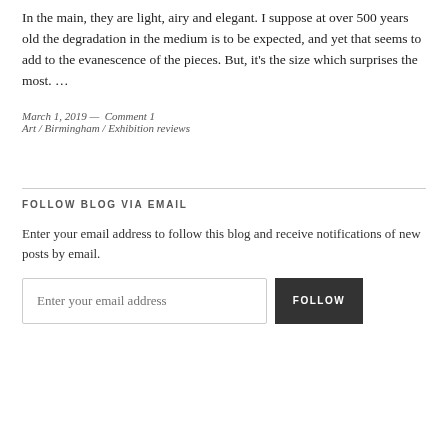In the main, they are light, airy and elegant. I suppose at over 500 years old the degradation in the medium is to be expected, and yet that seems to add to the evanescence of the pieces. But, it's the size which surprises the most. …
March 1, 2019 —  Comment 1
Art / Birmingham / Exhibition reviews
FOLLOW BLOG VIA EMAIL
Enter your email address to follow this blog and receive notifications of new posts by email.